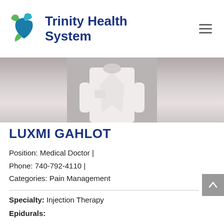[Figure (logo): Trinity Health System logo with green and teal cross/bird icon and dark blue bold text]
[Figure (photo): Doctor in white coat — torso/lower face visible, gray background]
LUXMI GAHLOT
Position: Medical Doctor | Phone: 740-792-4110 | Categories: Pain Management
Specialty: Injection Therapy
Epidurals: